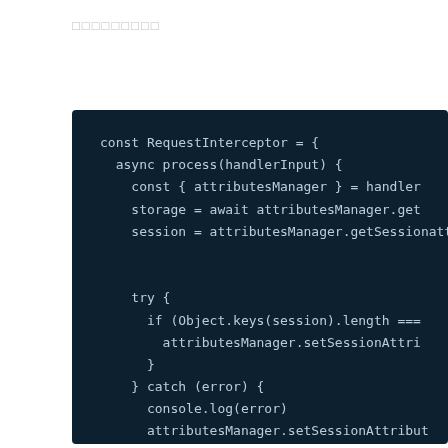□□□□□□□□□
[Figure (screenshot): Dark-themed code editor screenshot showing JavaScript code for a RequestInterceptor object with async process method, try-catch block, and console.log statements]